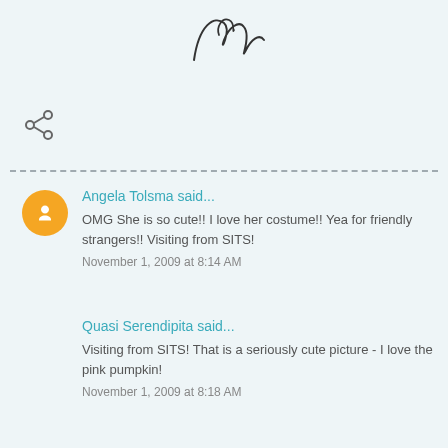[Figure (illustration): Handwritten cursive signature or decorative script at the top center of the page]
[Figure (illustration): Share icon (three connected dots forming a share symbol) on the left side]
Angela Tolsma said...
OMG She is so cute!! I love her costume!! Yea for friendly strangers!! Visiting from SITS!
November 1, 2009 at 8:14 AM
Quasi Serendipita said...
Visiting from SITS! That is a seriously cute picture - I love the pink pumpkin!
November 1, 2009 at 8:18 AM